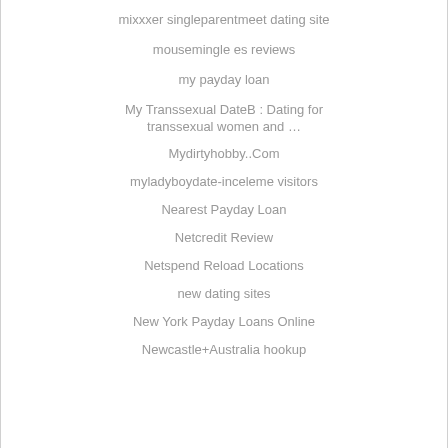mixxxer singleparentmeet dating site
mousemingle es reviews
my payday loan
My Transsexual DateB : Dating for transsexual women and …
Mydirtyhobby..Com
myladyboydate-inceleme visitors
Nearest Payday Loan
Netcredit Review
Netspend Reload Locations
new dating sites
New York Payday Loans Online
Newcastle+Australia hookup